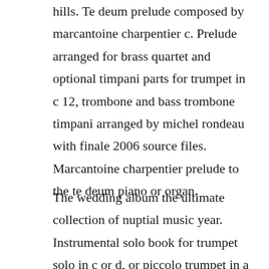hills. Te deum prelude composed by marcantoine charpentier c. Prelude arranged for brass quartet and optional timpani parts for trumpet in c 12, trombone and bass trombone timpani arranged by michel rondeau with finale 2006 source files. Marcantoine charpentier prelude to the te deum piano or organ.
The wedding album the ultimate collection of nuptial music year. Instrumental solo book for trumpet solo in c or d, or piccolo trumpet in a and organ accompaniment. Print and